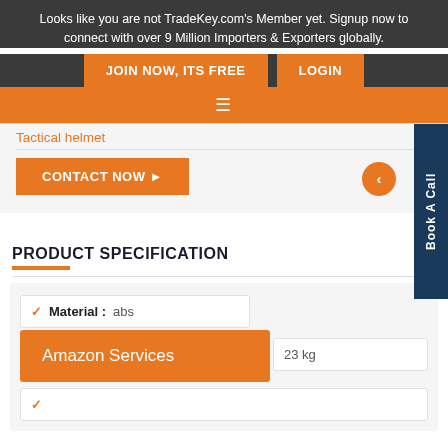Looks like you are not TradeKey.com's Member yet. Signup now to connect with over 9 Million Importers & Exporters globally.
JOIN NOW, ITS FREE | LOGIN
Tactical helmet
CONTACT NOW
Book A Call
PRODUCT SPECIFICATION
| Field | Value |
| --- | --- |
| Material : | abs |
|  | 23 kg |
Amazon Services